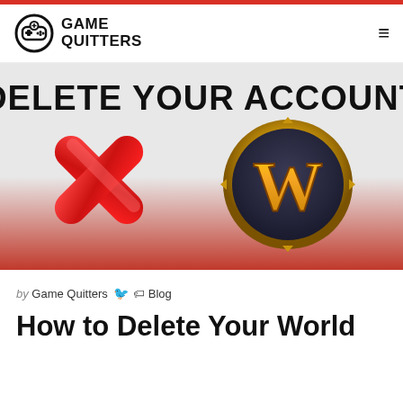[Figure (logo): Game Quitters logo with controller icon and text]
[Figure (illustration): Hero banner with gradient background from light gray to red, showing bold text 'DELETE YOUR ACCOUNT', a large red X mark on the left, and the World of Warcraft golden W logo on the right]
by Game Quitters [Twitter icon] [Tag icon] Blog
How to Delete Your World